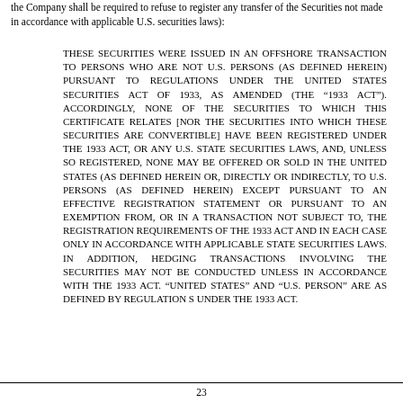the Company shall be required to refuse to register any transfer of the Securities not made in accordance with applicable U.S. securities laws):
THESE SECURITIES WERE ISSUED IN AN OFFSHORE TRANSACTION TO PERSONS WHO ARE NOT U.S. PERSONS (AS DEFINED HEREIN) PURSUANT TO REGULATIONS UNDER THE UNITED STATES SECURITIES ACT OF 1933, AS AMENDED (THE “1933 ACT”). ACCORDINGLY, NONE OF THE SECURITIES TO WHICH THIS CERTIFICATE RELATES [NOR THE SECURITIES INTO WHICH THESE SECURITIES ARE CONVERTIBLE] HAVE BEEN REGISTERED UNDER THE 1933 ACT, OR ANY U.S. STATE SECURITIES LAWS, AND, UNLESS SO REGISTERED, NONE MAY BE OFFERED OR SOLD IN THE UNITED STATES (AS DEFINED HEREIN OR, DIRECTLY OR INDIRECTLY, TO U.S. PERSONS (AS DEFINED HEREIN) EXCEPT PURSUANT TO AN EFFECTIVE REGISTRATION STATEMENT OR PURSUANT TO AN EXEMPTION FROM, OR IN A TRANSACTION NOT SUBJECT TO, THE REGISTRATION REQUIREMENTS OF THE 1933 ACT AND IN EACH CASE ONLY IN ACCORDANCE WITH APPLICABLE STATE SECURITIES LAWS. IN ADDITION, HEDGING TRANSACTIONS INVOLVING THE SECURITIES MAY NOT BE CONDUCTED UNLESS IN ACCORDANCE WITH THE 1933 ACT. “UNITED STATES” AND “U.S. PERSON” ARE AS DEFINED BY REGULATION S UNDER THE 1933 ACT.
23